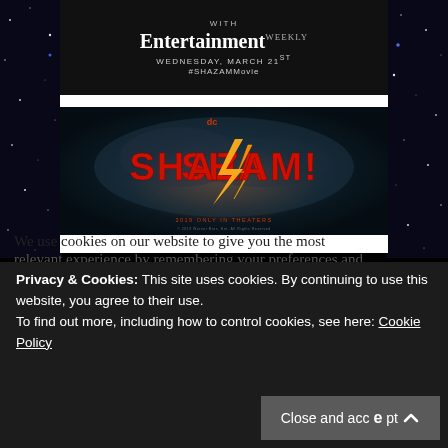[Figure (screenshot): Entertainment Weekly promotional image on dark background with text: WITH Entertainment WEEKLY, WEDNESDAY, MARCH 21ST, #SHAZAMMovie]
[Figure (screenshot): SHAZAM! movie logo on dark background with DC logo, lightning bolt, 2019 only in theaters]
We use cookies on our website to give you the most
Privacy & Cookies: This site uses cookies. By continuing to use this website, you agree to their use.
To find out more, including how to control cookies, see here: Cookie Policy
Close and accept